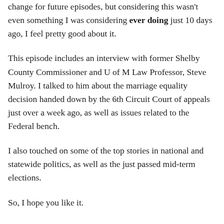change for future episodes, but considering this wasn't even something I was considering ever doing just 10 days ago, I feel pretty good about it.
This episode includes an interview with former Shelby County Commissioner and U of M Law Professor, Steve Mulroy. I talked to him about the marriage equality decision handed down by the 6th Circuit Court of appeals just over a week ago, as well as issues related to the Federal bench.
I also touched on some of the top stories in national and statewide politics, as well as the just passed mid-term elections.
So, I hope you like it.
Special thanks to Steve Mulroy for being the first guest.